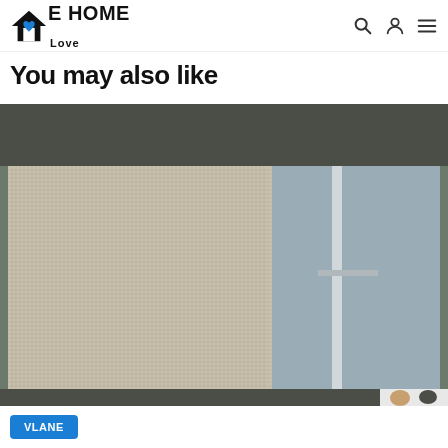E HOME Love
You may also like
[Figure (photo): Close-up photo of a window screen/insect mesh screen on a window frame, showing fine mesh texture with partial view of window hardware and a roller shade at top.]
VLANE